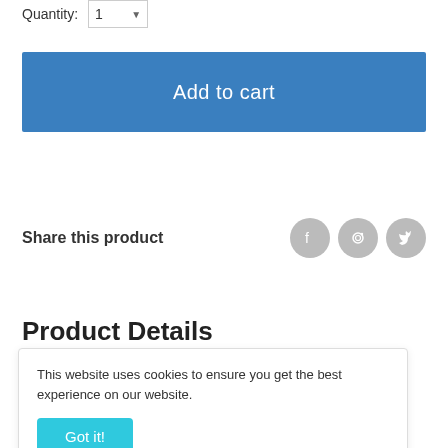Quantity: 1
Add to cart
Share this product
Product Details
This website uses cookies to ensure you get the best experience on our website.
Got it!
everyday your reach into your makeup bag.